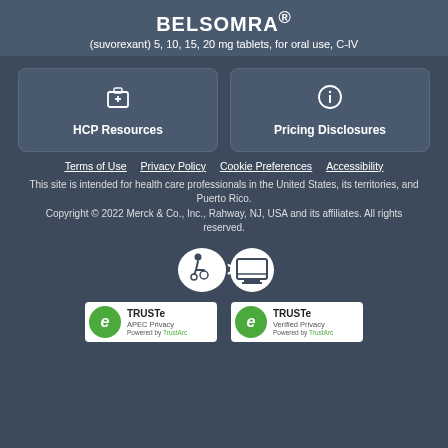BELSOMRA® (suvorexant) 5, 10, 15, 20 mg tablets, for oral use, C-IV
[Figure (infographic): Two clickable cards: HCP Resources (briefcase/medical icon) and Pricing Disclosures (info icon)]
Terms of Use
Privacy Policy
Cookie Preferences
Accessibility
This site is intended for health care professionals in the United States, its territories, and Puerto Rico. Copyright © 2022 Merck & Co., Inc., Rahway, NJ, USA and its affiliates. All rights reserved.
[Figure (logo): Accessibility logo showing wheelchair symbol and computer symbol with greater-than arrow between them]
[Figure (logo): TRUSTe APEC Privacy badge - Powered by TrustArc and TRUSTe Verified Privacy badge - Powered by TrustArc]